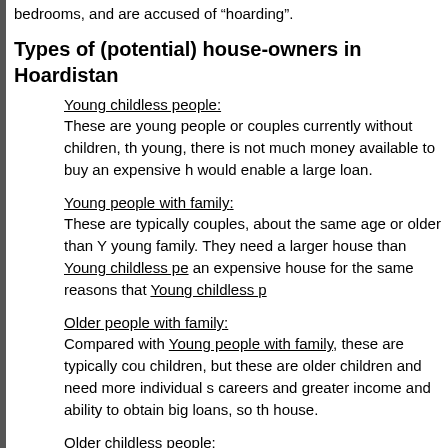bedrooms, and are accused of “hoarding”.
Types of (potential) house-owners in Hoardistan
Young childless people: These are young people or couples currently without children, th young, there is not much money available to buy an expensive h would enable a large loan.
Young people with family: These are typically couples, about the same age or older than Y young family. They need a larger house than Young childless pe an expensive house for the same reasons that Young childless p
Older people with family: Compared with Young people with family, these are typically cou children, but these are older children and need more individual s careers and greater income and ability to obtain big loans, so th house.
Older childless people: These are either like Young childless people but older (hea